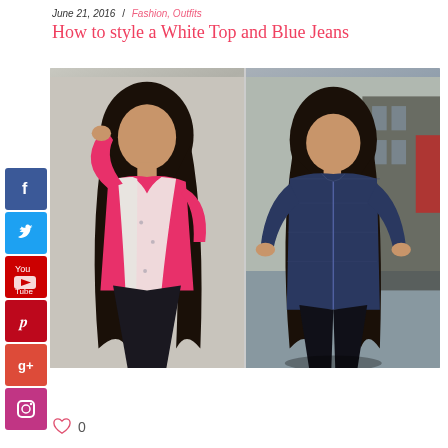June 21, 2016 / Fashion, Outfits
How to style a White Top and Blue Jeans
[Figure (photo): Two fashion photos side by side: left photo shows a woman in a pink top with a floral scarf and dark jeans; right photo shows a woman in a dark blue zip-up jacket with dark pants, posing with hands on hips outdoors.]
♡ 0